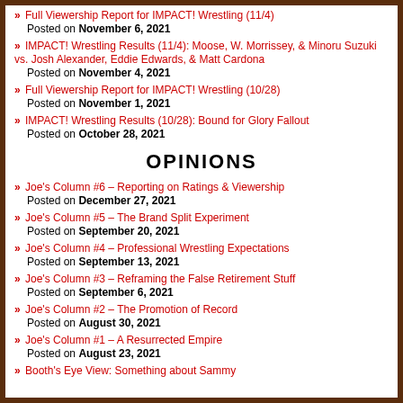» Full Viewership Report for IMPACT! Wrestling (11/4)
Posted on November 6, 2021
» IMPACT! Wrestling Results (11/4): Moose, W. Morrissey, & Minoru Suzuki vs. Josh Alexander, Eddie Edwards, & Matt Cardona
Posted on November 4, 2021
» Full Viewership Report for IMPACT! Wrestling (10/28)
Posted on November 1, 2021
» IMPACT! Wrestling Results (10/28): Bound for Glory Fallout
Posted on October 28, 2021
OPINIONS
» Joe's Column #6 – Reporting on Ratings & Viewership
Posted on December 27, 2021
» Joe's Column #5 – The Brand Split Experiment
Posted on September 20, 2021
» Joe's Column #4 – Professional Wrestling Expectations
Posted on September 13, 2021
» Joe's Column #3 – Reframing the False Retirement Stuff
Posted on September 6, 2021
» Joe's Column #2 – The Promotion of Record
Posted on August 30, 2021
» Joe's Column #1 – A Resurrected Empire
Posted on August 23, 2021
» Booth's Eye View: Something about Sammy